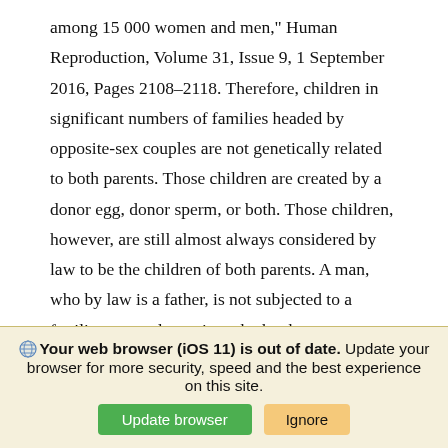among 15 000 women and men," Human Reproduction, Volume 31, Issue 9, 1 September 2016, Pages 2108–2118. Therefore, children in significant numbers of families headed by opposite-sex couples are not genetically related to both parents. Those children are created by a donor egg, donor sperm, or both. Those children, however, are still almost always considered by law to be the children of both parents. A man, who by law is a father, is not subjected to a fertility test to determine whether he can create a child with his female spouse.
Your web browser (iOS 11) is out of date. Update your browser for more security, speed and the best experience on this site. [Update browser] [Ignore]